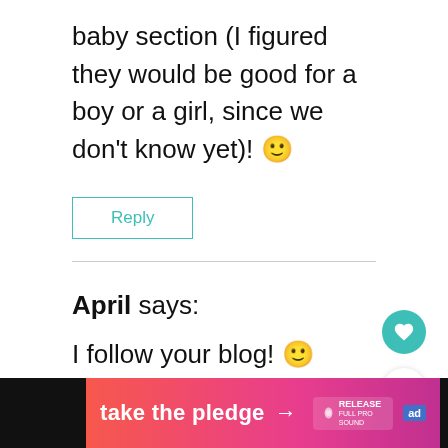baby section (I figured they would be good for a boy or a girl, since we don't know yet)! 🙂
Reply
April says:
I follow your blog! 🙂
[Figure (infographic): Take the pledge banner ad at the bottom with orange-pink gradient, arrow, Release logo, and ad badge]
[Figure (infographic): What's Next widget showing Ecomom Review and... with product image]